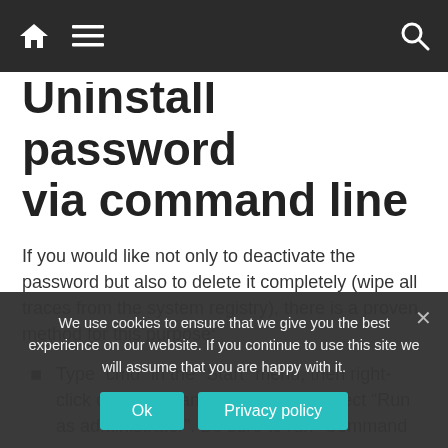Navigation bar with home, menu, and search icons
Uninstall password via command line
If you would like not only to deactivate the password but also to delete it completely (wipe all traces from the system registry), there is a proven method for this purpose:
Type “cmd” in the “Start” menu, then right-click on “Command Prompt” and select “Run as administrator”. Be sure to run “Command
We use cookies to ensure that we give you the best experience on our website. If you continue to use this site we will assume that you are happy with it.